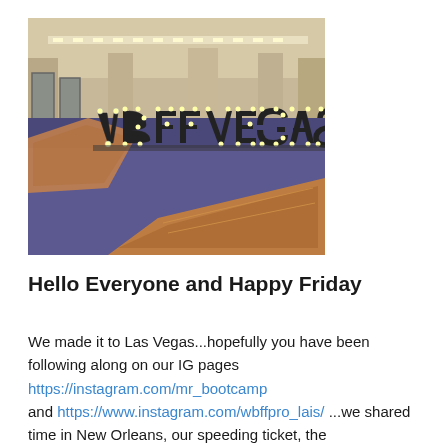[Figure (photo): Photo of a grand interior lobby with purple/blue carpet and decorative rugs. Large illuminated marquee letters spelling 'VBFF VEGAS' are displayed in the center of the room. The background shows marble walls, mirrors, and overhead lighting.]
Hello Everyone and Happy Friday
We made it to Las Vegas...hopefully you have been following along on our IG pages https://instagram.com/mr_bootcamp and https://www.instagram.com/wbffpro_lais/ ...we shared time in New Orleans, our speeding ticket, the